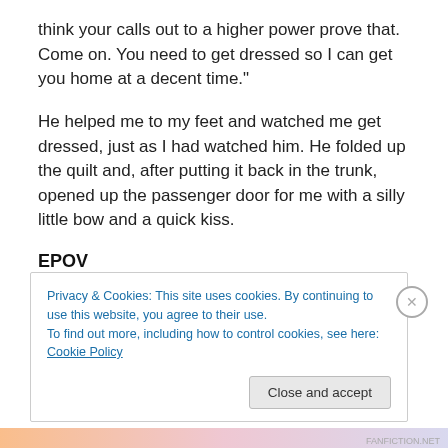think your calls out to a higher power prove that. Come on. You need to get dressed so I can get you home at a decent time."
He helped me to my feet and watched me get dressed, just as I had watched him. He folded up the quilt and, after putting it back in the trunk, opened up the passenger door for me with a silly little bow and a quick kiss.
EPOV
The next few weeks went the same way. We met in the
Privacy & Cookies: This site uses cookies. By continuing to use this website, you agree to their use.
To find out more, including how to control cookies, see here: Cookie Policy
Close and accept